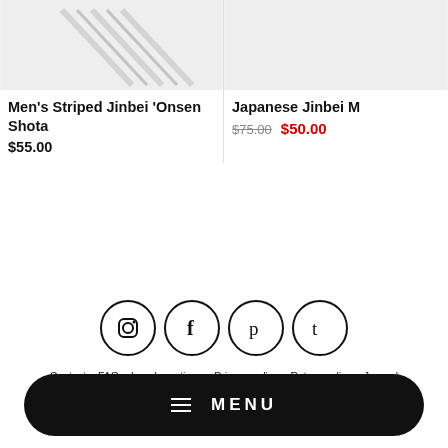[Figure (photo): Product image placeholder for Men's Striped Jinbei, light gray background]
Men's Striped Jinbei 'Onsen Shota
$55.00
[Figure (photo): Product image placeholder for Japanese Jinbei, light gray background]
Japanese Jinbei M
$75.00  $50.00
[Figure (infographic): Social media icons: Instagram, Facebook, Pinterest, Tumblr in circles]
Contact   FAQ   Legal mentions   Privacy policy   Return policy   Journal
Delivery   Japanese Store   Track My Order
[Figure (infographic): Payment method icons: Amex, Apple Pay, Mastercard, PayPal, Visa]
≡  MENU